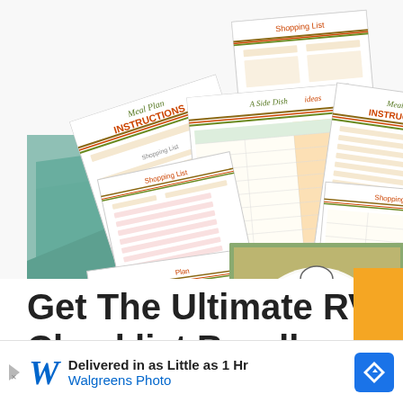[Figure (illustration): A promotional image showing a fan-spread of meal planning documents including shopping lists, side dish ideas, meal plan instructions sheets — all with green, orange and yellow color scheme — and a central book/booklet titled 'Easy Camper 7 DAY meal plan' with a photo of a picnic table. The documents are displayed on a teal/green diagonal background.]
Get The Ultimate RVers Checklist Bundle
[Figure (screenshot): Advertisement banner at the bottom: Walgreens Photo ad reading 'Delivered in as Little as 1 Hr' with Walgreens cursive W logo in blue, and a blue navigation/directions diamond icon on the right.]